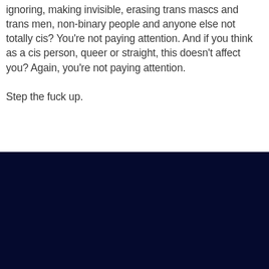ignoring, making invisible, erasing trans mascs and trans men, non-binary people and anyone else not totally cis? You're not paying attention. And if you think as a cis person, queer or straight, this doesn't affect you? Again, you're not paying attention.

Step the fuck up.
[Figure (other): Dark navy/near-black rectangular block filling the bottom portion of the page]